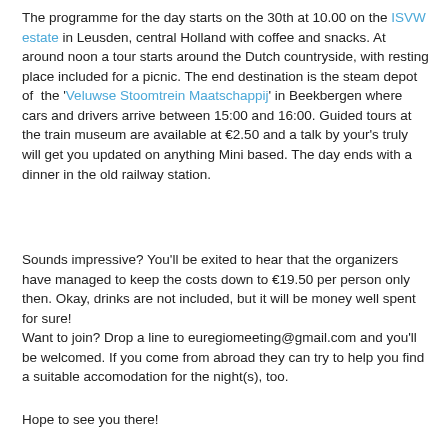The programme for the day starts on the 30th at 10.00 on the ISVW estate in Leusden, central Holland with coffee and snacks. At around noon a tour starts around the Dutch countryside, with resting place included for a picnic. The end destination is the steam depot of the 'Veluwse Stoomtrein Maatschappij' in Beekbergen where cars and drivers arrive between 15:00 and 16:00. Guided tours at the train museum are available at €2.50 and a talk by your's truly will get you updated on anything Mini based. The day ends with a dinner in the old railway station.
Sounds impressive? You'll be exited to hear that the organizers have managed to keep the costs down to €19.50 per person only then. Okay, drinks are not included, but it will be money well spent for sure! Want to join? Drop a line to euregiomeeting@gmail.com and you'll be welcomed. If you come from abroad they can try to help you find a suitable accomodation for the night(s), too.
Hope to see you there!